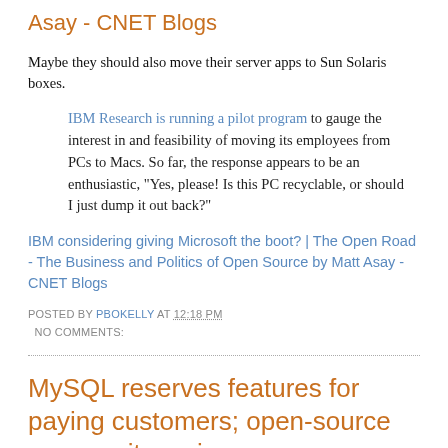Asay - CNET Blogs
Maybe they should also move their server apps to Sun Solaris boxes.
IBM Research is running a pilot program to gauge the interest in and feasibility of moving its employees from PCs to Macs. So far, the response appears to be an enthusiastic, "Yes, please! Is this PC recyclable, or should I just dump it out back?"
IBM considering giving Microsoft the boot? | The Open Road - The Business and Politics of Open Source by Matt Asay - CNET Blogs
POSTED BY PBOKELLY AT 12:18 PM
  NO COMMENTS:
MySQL reserves features for paying customers; open-source community up in arms [ComputerWorld]